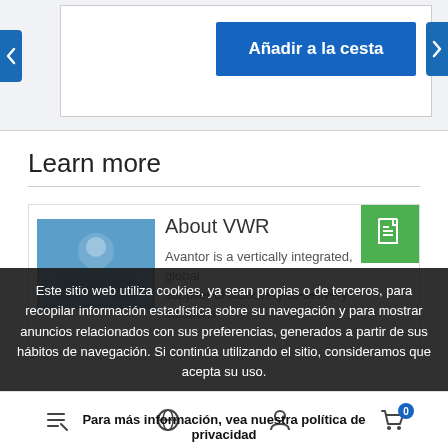[Figure (screenshot): Top section of a webpage with a white card area, left/right navigation arrows, and a blue 'Añadir a la cesta' (Add to cart) button on a light grey background]
Learn more
[Figure (screenshot): Card with green document icon, science/lab image, heading 'About VWR' and text 'Avantor is a vertically integrated, global supplier of discovery-to-delivery solutions']
Este sitio web utiliza cookies, ya sean propias o de terceros, para recopilar información estadística sobre su navegación y para mostrar anuncios relacionados con sus preferencias, generados a partir de sus hábitos de navegación. Si continúa utilizando el sitio, consideramos que acepta su uso.
Para más información, vea nuestra política de privacidad